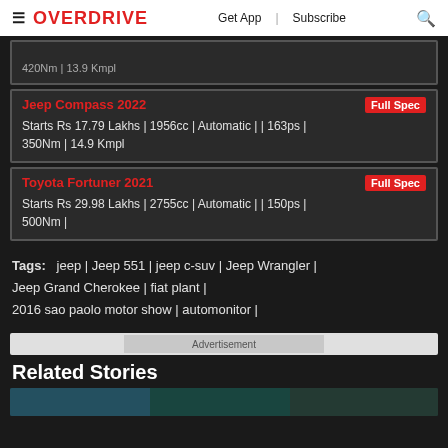OVERDRIVE | Get App | Subscribe
420Nm | 13.9 Kmpl
Jeep Compass 2022 Full Spec
Starts Rs 17.79 Lakhs | 1956cc | Automatic | | 163ps | 350Nm | 14.9 Kmpl
Toyota Fortuner 2021 Full Spec
Starts Rs 29.98 Lakhs | 2755cc | Automatic | | 150ps | 500Nm |
Tags: jeep | Jeep 551 | jeep c-suv | Jeep Wrangler | Jeep Grand Cherokee | fiat plant | 2016 sao paolo motor show | automonitor |
Advertisement
Related Stories